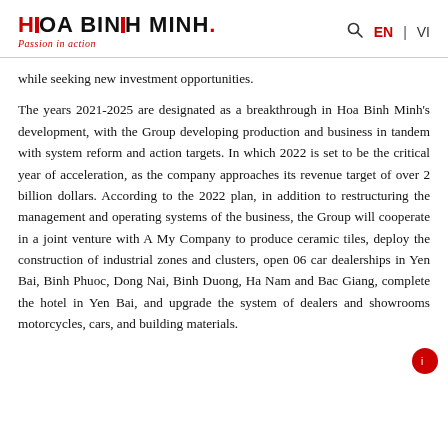HOA BINH MINH. Passion in action | EN | VI
while seeking new investment opportunities.
The years 2021-2025 are designated as a breakthrough in Hoa Binh Minh's development, with the Group developing production and business in tandem with system reform and action targets. In which 2022 is set to be the critical year of acceleration, as the company approaches its revenue target of over 2 billion dollars. According to the 2022 plan, in addition to restructuring the management and operating systems of the business, the Group will cooperate in a joint venture with A My Company to produce ceramic tiles, deploy the construction of industrial zones and clusters, open 06 car dealerships in Yen Bai, Binh Phuoc, Dong Nai, Binh Duong, Ha Nam and Bac Giang, complete the hotel in Yen Bai, and upgrade the system of dealers and showrooms motorcycles, cars, and building materials.